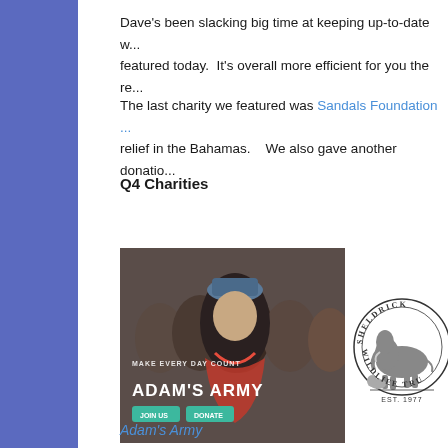Dave's been slacking big time at keeping up-to-date w... featured today.  It's overall more efficient for you the re...
The last charity we featured was Sandals Foundation ... relief in the Bahamas.    We also gave another donatio...
Q4 Charities
[Figure (photo): Adam's Army promotional image showing runners at a race event with text 'MAKE EVERY DAY COUNT' and 'ADAM'S ARMY' overlaid, with JOIN US and DONATE buttons]
[Figure (logo): Sheldrick Wildlife Trust circular logo showing an elephant, text 'SHELDRICK WILDLIFE TRU...' around the circle, and 'EST. 1977' below the elephant]
Adam's Army